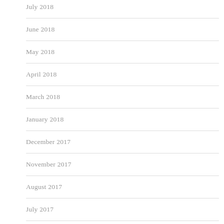July 2018
June 2018
May 2018
April 2018
March 2018
January 2018
December 2017
November 2017
August 2017
July 2017
June 2017